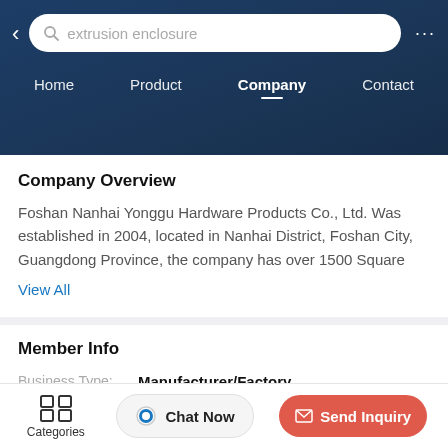[Figure (screenshot): Mobile app header with search bar showing 'extrusion enclosure', navigation tabs: Home, Product, Company (active, underlined), Contact on dark navy background]
Company Overview
Foshan Nanhai Yonggu Hardware Products Co., Ltd. Was established in 2004, located in Nanhai District, Foshan City, Guangdong Province, the company has over 1500 Square
View All
Member Info
| Business Type: |  |
| --- | --- |
| Business Type: | Manufacturer/Factory |
Categories  Chat Now  Send Inquiry